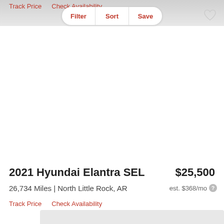Track Price   Check Availability
Filter  Sort  Save
2021 Hyundai Elantra SEL
$25,500
26,734 Miles | North Little Rock, AR
est. $368/mo
Track Price   Check Availability
[Figure (photo): Car listing image placeholder area (white/empty)]
[Figure (photo): Bottom car image placeholder (gray)]